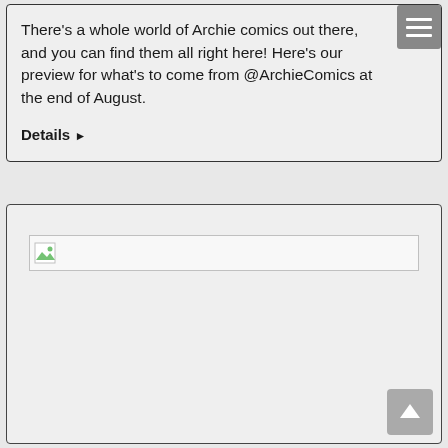There's a whole world of Archie comics out there, and you can find them all right here! Here's our preview for what's to come from @ArchieComics at the end of August.
Details ▶
[Figure (other): Broken image placeholder with small icon]